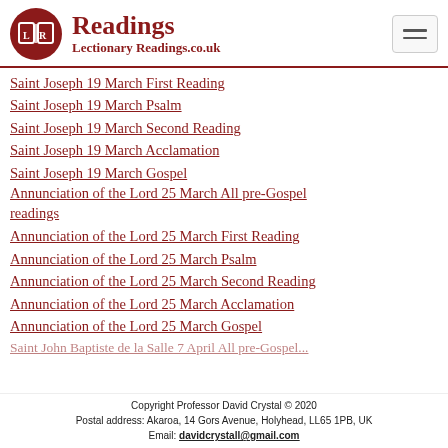Readings — Lectionary Readings.co.uk
Saint Joseph 19 March First Reading
Saint Joseph 19 March Psalm
Saint Joseph 19 March Second Reading
Saint Joseph 19 March Acclamation
Saint Joseph 19 March Gospel
Annunciation of the Lord 25 March All pre-Gospel readings
Annunciation of the Lord 25 March First Reading
Annunciation of the Lord 25 March Psalm
Annunciation of the Lord 25 March Second Reading
Annunciation of the Lord 25 March Acclamation
Annunciation of the Lord 25 March Gospel
Saint John Baptiste de la Salle 7 April All pre-Gospel
Copyright Professor David Crystal © 2020
Postal address: Akaroa, 14 Gors Avenue, Holyhead, LL65 1PB, UK
Email: davidcrystall@gmail.com